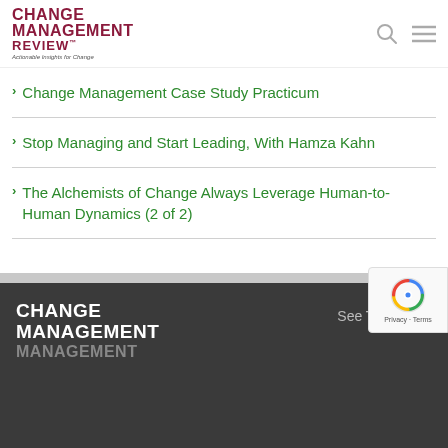CHANGE MANAGEMENT REVIEW™ — Actionable Insights for Change
Change Management Case Study Practicum
Stop Managing and Start Leading, With Hamza Kahn
The Alchemists of Change Always Leverage Human-to-Human Dynamics (2 of 2)
CHANGE MANAGEMENT — See The Latest — Privacy · Terms